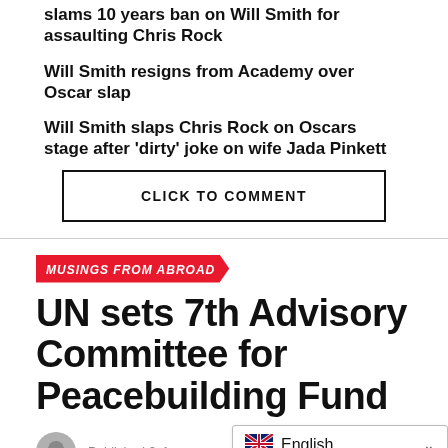slams 10 years ban on Will Smith for assaulting Chris Rock
Will Smith resigns from Academy over Oscar slap
Will Smith slaps Chris Rock on Oscars stage after ‘dirty’ joke on wife Jada Pinkett
CLICK TO COMMENT
MUSINGS FROM ABROAD
UN sets 7th Advisory Committee for Peacebuilding Fund
Published 3 days ago on Aug